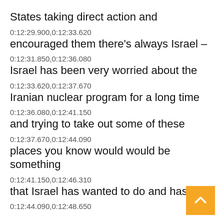States taking direct action and
0:12:29.900,0:12:33.620
encouraged them there's always Israel –
0:12:31.850,0:12:36.080
Israel has been very worried about the
0:12:33.620,0:12:37.670
Iranian nuclear program for a long time
0:12:36.080,0:12:41.150
and trying to take out some of these
0:12:37.670,0:12:44.090
places you know would would be something
0:12:41.150,0:12:46.310
that Israel has wanted to do and has
0:12:44.090,0:12:48.650